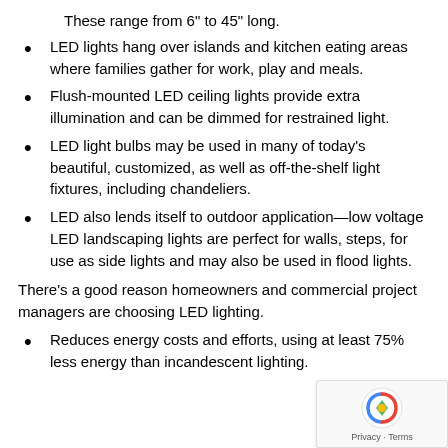These range from 6" to 45" long.
LED lights hang over islands and kitchen eating areas where families gather for work, play and meals.
Flush-mounted LED ceiling lights provide extra illumination and can be dimmed for restrained light.
LED light bulbs may be used in many of today's beautiful, customized, as well as off-the-shelf light fixtures, including chandeliers.
LED also lends itself to outdoor application—low voltage LED landscaping lights are perfect for walls, steps, for use as side lights and may also be used in flood lights.
There's a good reason homeowners and commercial project managers are choosing LED lighting.
Reduces energy costs and efforts, using at least 75% less energy than incandescent lighting.